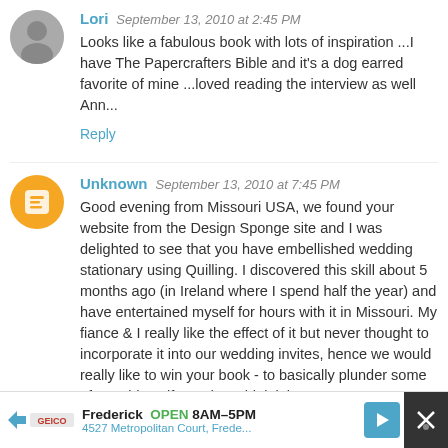Lori  September 13, 2010 at 2:45 PM
Looks like a fabulous book with lots of inspiration ...I have The Papercrafters Bible and it's a dog earred favorite of mine ...loved reading the interview as well Ann...
Reply
Unknown  September 13, 2010 at 7:45 PM
Good evening from Missouri USA, we found your website from the Design Sponge site and I was delighted to see that you have embellished wedding stationary using Quilling. I discovered this skill about 5 months ago (in Ireland where I spend half the year) and have entertained myself for hours with it in Missouri. My fiance & I really like the effect of it but never thought to incorporate it into our wedding invites, hence we would really like to win your book - to basically plunder some of your ideas if you don't think it is
Frederick  OPEN 8AM–5PM
4527 Metropolitan Court, Frede...